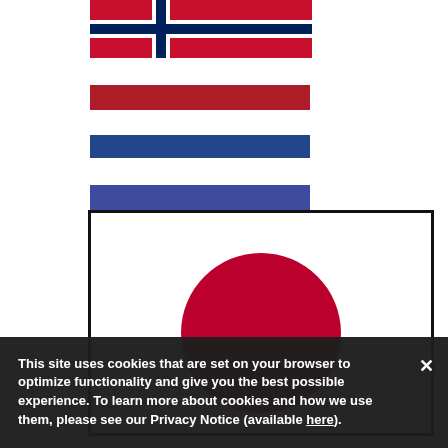[Figure (illustration): Norway flag partial view - red background with dark blue and white cross stripe]
[Figure (illustration): Netherlands flag - red top stripe, white middle stripe, blue bottom stripe]
[Figure (illustration): Japan flag - white background with red circle in center, inside a black border box]
This site uses cookies that are set on your browser to optimize functionality and give you the best possible experience. To learn more about cookies and how we use them, please see our Privacy Notice (available here).